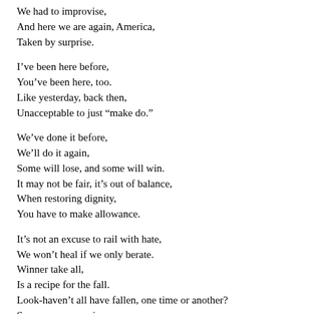We had to improvise,
And here we are again, America,
Taken by surprise.
I've been here before,
You've been here, too.
Like yesterday, back then,
Unacceptable to just “make do.”
We’ve done it before,
We’ll do it again,
Some will lose, and some will win.
It may not be fair, it’s out of balance,
When restoring dignity,
You have to make allowance.
It’s not an excuse to rail with hate,
We won’t heal if we only berate.
Winner take all,
Is a recipe for the fall.
Look-haven’t all have fallen, one time or another?
Serve up compassion,
And you’ll see it’s your brother.
Cross-posted to the Huffington Post